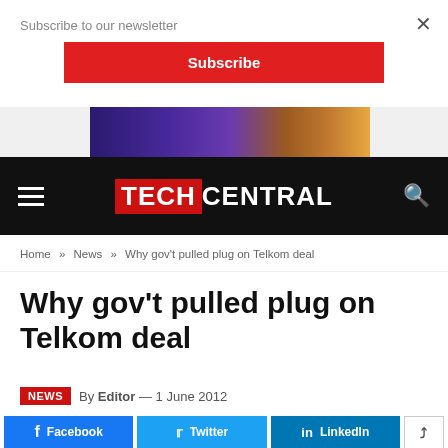Subscribe to our newsletter
[Figure (other): Red Subscribe button on newsletter overlay bar]
[Figure (other): Advertisement banner image with purple and gold gradient]
[Figure (logo): TechCentral logo on black navigation bar with hamburger menu and search icon]
Home » News » Why gov't pulled plug on Telkom deal
Why gov't pulled plug on Telkom deal
NEWS  By Editor — 1 June 2012
[Figure (other): Social share buttons: Facebook, Twitter, LinkedIn, Share]